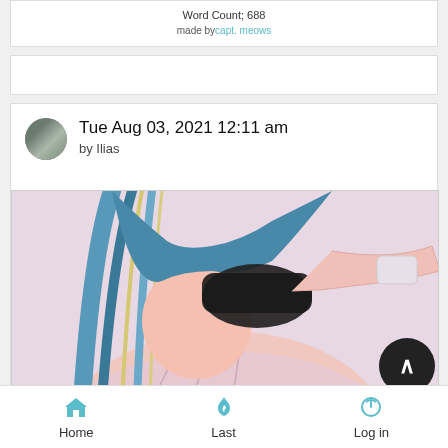Word Count; 688
made by capt. meows
Tue Aug 03, 2021 12:11 am
by Ilias
[Figure (illustration): Anime-style illustration of a character with long blue-streaked hair covering their eyes with a black-gloved hand, wearing a pink/white shirt, partially visible. A dark circular scroll-to-top button is visible in the bottom right corner.]
Home   Last   Log in